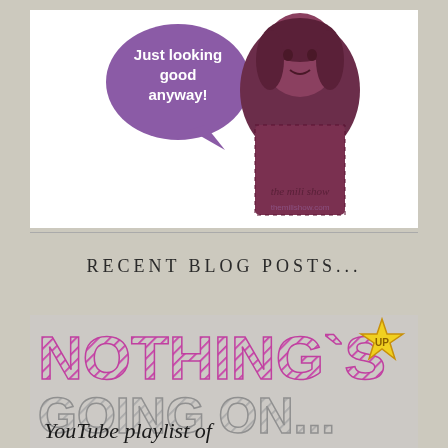[Figure (illustration): Blog logo image showing a woman with a purple speech bubble saying 'Just looking good anyway!' and text 'the mili show' at the bottom, duotone purple/maroon style]
RECENT BLOG POSTS...
[Figure (illustration): Blog post thumbnail with stylized text 'NOTHING'S UP GOING ON...' in pink/purple hatched letters with a star badge, and subtitle 'YouTube playlist of']